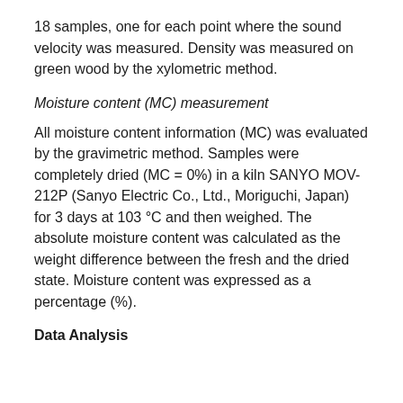18 samples, one for each point where the sound velocity was measured. Density was measured on green wood by the xylometric method.
Moisture content (MC) measurement
All moisture content information (MC) was evaluated by the gravimetric method. Samples were completely dried (MC = 0%) in a kiln SANYO MOV-212P (Sanyo Electric Co., Ltd., Moriguchi, Japan) for 3 days at 103 °C and then weighed. The absolute moisture content was calculated as the weight difference between the fresh and the dried state. Moisture content was expressed as a percentage (%).
Data Analysis